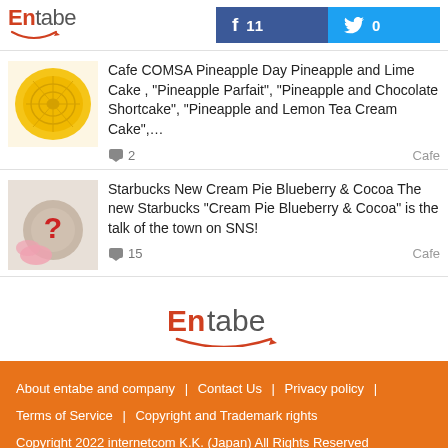Entabe | Facebook: 11 | Twitter: 0
Cafe COMSA Pineapple Day Pineapple and Lime Cake, "Pineapple Parfait", "Pineapple and Chocolate Shortcake", "Pineapple and Lemon Tea Cream Cake",…   2   Cafe
Starbucks New Cream Pie Blueberry & Cocoa The new Starbucks "Cream Pie Blueberry & Cocoa" is the talk of the town on SNS!   15   Cafe
[Figure (logo): Entabe logo centered on white background]
About entabe and company | Contact Us | Privacy policy | Terms of Service | Copyright and Trademark rights | Copyright 2022 internetcom K.K. (Japan) All Rights Reserved